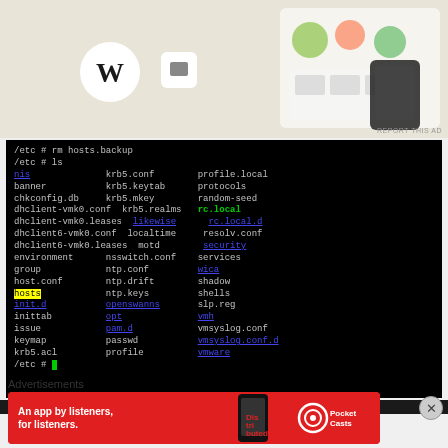[Figure (screenshot): Top advertisement banner with WordPress logo and app/food imagery on beige background]
[Figure (screenshot): Terminal window showing Linux /etc directory listing after 'rm hosts.backup' and 'ls' commands. Files listed in three columns with some highlighted in blue/green/yellow indicating symlinks or special files. Cursor shown at prompt.]
Advertisements
[Figure (screenshot): Pocket Casts advertisement banner: red background with text 'An app by listeners, for listeners.' and Pocket Casts logo with phone graphic.]